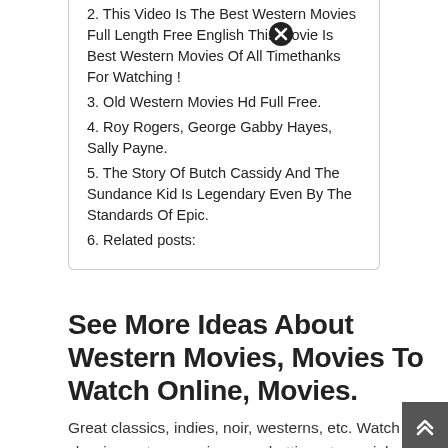2. This Video Is The Best Western Movies Full Length Free English This Movie Is Best Western Movies Of All Timethanks For Watching !
3. Old Western Movies Hd Full Free.
4. Roy Rogers, George Gabby Hayes, Sally Payne.
5. The Story Of Butch Cassidy And The Sundance Kid Is Legendary Even By The Standards Of Epic.
6. Related posts:
See More Ideas About Western Movies, Movies To Watch Online, Movies.
Great classics, indies, noir, westerns, etc. Watch classic western movies, spaghetti westerns, john wayne movies and tv shows. Stars john wayne, ray